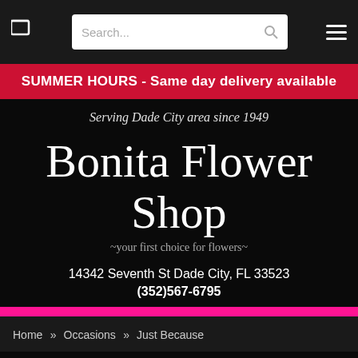[Figure (screenshot): Navigation bar with cart icon, search box, and hamburger menu on dark background]
SUMMER HOURS - Same day delivery available
Serving Dade City area since 1949
Bonita Flower Shop
~your first choice for flowers~
14342 Seventh St Dade City, FL 33523
(352)567-6795
Home » Occasions » Just Because
Just Because Flower Delivery in